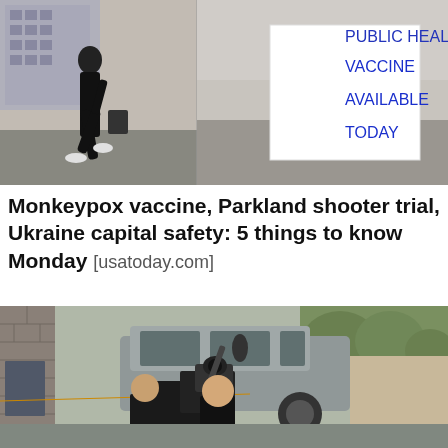[Figure (photo): Left: person walking past a building. Right: white sign reading 'VACCINE AVAILABLE TODAY' in bold blue letters on a parking lot background.]
Monkeypox vaccine, Parkland shooter trial, Ukraine capital safety: 5 things to know Monday [usatoday.com]
[Figure (photo): News camera crew filming outdoors near a silver SUV and buildings, showing equipment and crew members from behind.]